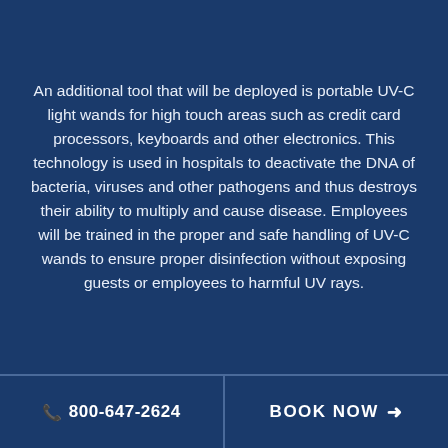An additional tool that will be deployed is portable UV-C light wands for high touch areas such as credit card processors, keyboards and other electronics. This technology is used in hospitals to deactivate the DNA of bacteria, viruses and other pathogens and thus destroys their ability to multiply and cause disease. Employees will be trained in the proper and safe handling of UV-C wands to ensure proper disinfection without exposing guests or employees to harmful UV rays.
📞 800-647-2624    BOOK NOW →